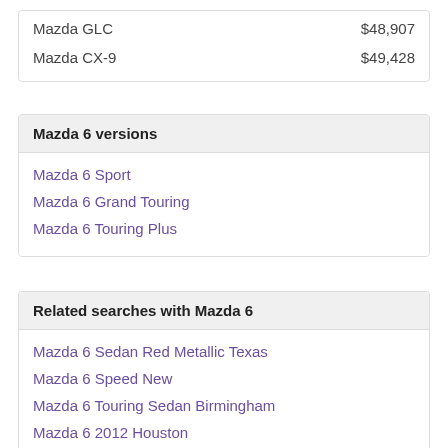| Model | Price |
| --- | --- |
| Mazda GLC | $48,907 |
| Mazda CX-9 | $49,428 |
Mazda 6 versions
Mazda 6 Sport
Mazda 6 Grand Touring
Mazda 6 Touring Plus
Related searches with Mazda 6
Mazda 6 Sedan Red Metallic Texas
Mazda 6 Speed New
Mazda 6 Touring Sedan Birmingham
Mazda 6 2012 Houston
Mazda 6 2000 Florida